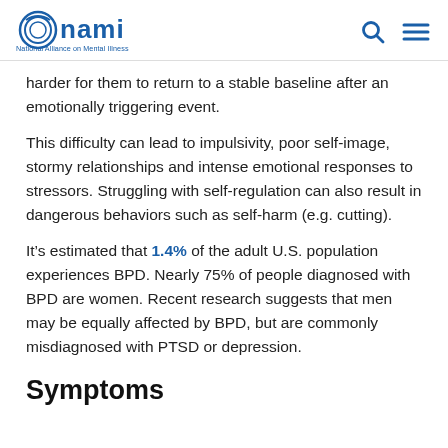NAMI - National Alliance on Mental Illness
harder for them to return to a stable baseline after an emotionally triggering event.
This difficulty can lead to impulsivity, poor self-image, stormy relationships and intense emotional responses to stressors. Struggling with self-regulation can also result in dangerous behaviors such as self-harm (e.g. cutting).
It’s estimated that 1.4% of the adult U.S. population experiences BPD. Nearly 75% of people diagnosed with BPD are women. Recent research suggests that men may be equally affected by BPD, but are commonly misdiagnosed with PTSD or depression.
Symptoms